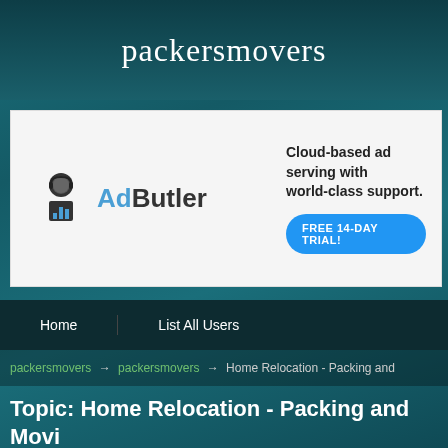packersmovers
[Figure (screenshot): AdButler advertisement banner: Cloud-based ad serving with world-class support. FREE 14-DAY TRIAL!]
Home | List All Users
packersmovers → packersmovers → Home Relocation - Packing and
Topic: Home Relocation - Packing and Movi... Movers